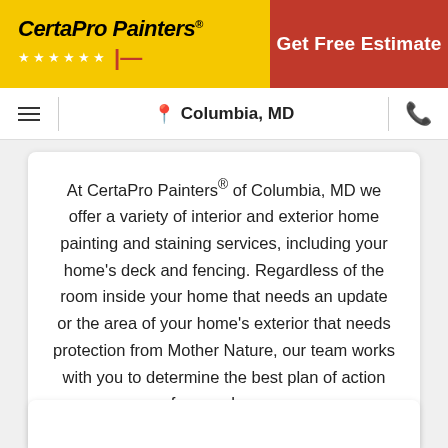[Figure (logo): CertaPro Painters logo with stars and brand mark on yellow background]
Get Free Estimate
Columbia, MD
At CertaPro Painters® of Columbia, MD we offer a variety of interior and exterior home painting and staining services, including your home's deck and fencing. Regardless of the room inside your home that needs an update or the area of your home's exterior that needs protection from Mother Nature, our team works with you to determine the best plan of action for your home.
LEARN MORE